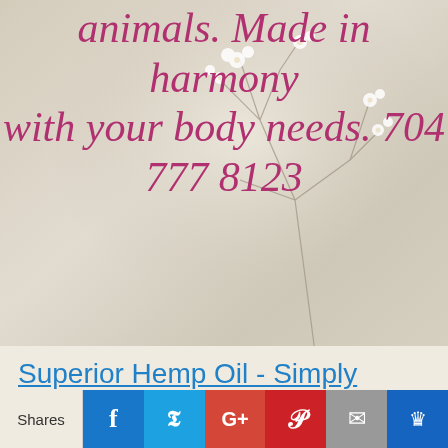[Figure (photo): Hero image with botanical floral elements on a beige/taupe background with large italic pink/rose text reading 'animals. Made in harmony with your body needs. 704 777 8123']
Menu
Superior Hemp Oil – Simply Transformative
Superior Hemp Oil - Simply
Shares | Facebook | Twitter | G+ | Pinterest | Email | Crown